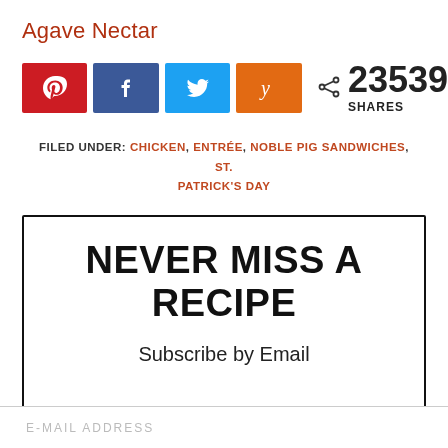Agave Nectar
[Figure (infographic): Social share buttons: Pinterest (red), Facebook (blue), Twitter (light blue), Yummly (orange), plus share icon with count 23539 SHARES]
FILED UNDER: CHICKEN, ENTRÉE, NOBLE PIG SANDWICHES, ST. PATRICK'S DAY
NEVER MISS A RECIPE

Subscribe by Email
E-MAIL ADDRESS